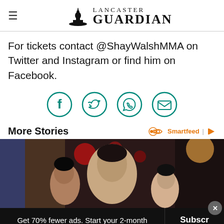Lancaster Guardian
For tickets contact @ShayWalshMMA on Twitter and Instagram or find him on Facebook.
[Figure (infographic): Social media share icons: Facebook, Twitter, WhatsApp, Email — teal circle outlines]
More Stories
[Figure (photo): Photo of a man with two children at what appears to be a festive/Christmas event]
Get 70% fewer ads. Start your 2-month trial for just £2 per month
Subscribe Today